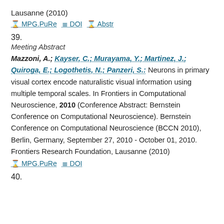Lausanne (2010)
⊘ MPG.PuRe  ≡ DOI  ⊘ Abstr
39.
Meeting Abstract
Mazzoni, A.; Kayser, C.; Murayama, Y.; Martinez, J.; Quiroga, E.; Logothetis, N.; Panzeri, S.: Neurons in primary visual cortex encode naturalistic visual information using multiple temporal scales. In Frontiers in Computational Neuroscience, 2010 (Conference Abstract: Bernstein Conference on Computational Neuroscience). Bernstein Conference on Computational Neuroscience (BCCN 2010), Berlin, Germany, September 27, 2010 - October 01, 2010. Frontiers Research Foundation, Lausanne (2010)
⊘ MPG.PuRe  ≡ DOI
40.